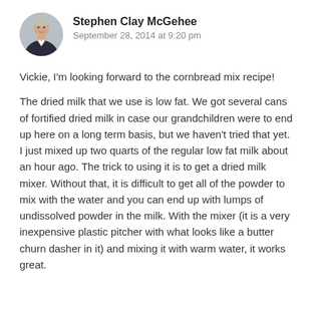[Figure (photo): Circular avatar photo of a middle-aged man in a dark suit jacket against a light background]
Stephen Clay McGehee
September 28, 2014 at 9:20 pm
Vickie, I'm looking forward to the cornbread mix recipe!
The dried milk that we use is low fat. We got several cans of fortified dried milk in case our grandchildren were to end up here on a long term basis, but we haven't tried that yet. I just mixed up two quarts of the regular low fat milk about an hour ago. The trick to using it is to get a dried milk mixer. Without that, it is difficult to get all of the powder to mix with the water and you can end up with lumps of undissolved powder in the milk. With the mixer (it is a very inexpensive plastic pitcher with what looks like a butter churn dasher in it) and mixing it with warm water, it works great.